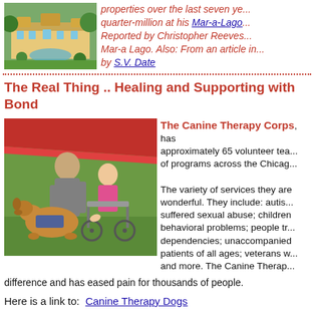[Figure (photo): Aerial photo of a large estate with pool and lush grounds (Mar-a-Lago)]
properties over the last seven ye... quarter-million at his Mar-a-Lago... Reported by Christopher Reeves... Mar-a Lago. Also: From an article in... by S.V. Date
..............................................................................................
The Real Thing .. Healing and Supporting with Bond
[Figure (photo): Photo of a therapy dog with a vest interacting with a child in a wheelchair, assisted by an adult, outdoors under a red canopy]
The Canine Therapy Corps, approximately 65 volunteer teams of programs across the Chicag...
The variety of services they are wonderful. They include: autism; suffered sexual abuse; children behavioral problems; people tr dependencies; unaccompanied patients of all ages; veterans w and more. The Canine Therap difference and has eased pain for thousands of people.
Here is a link to:  Canine Therapy Dogs
..........................................